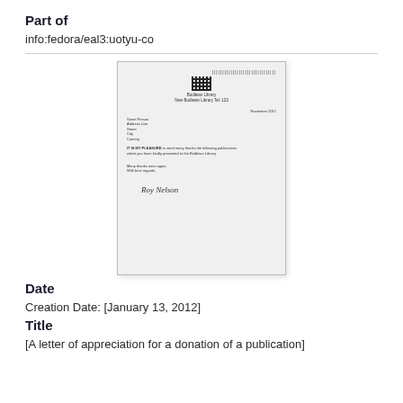Part of
info:fedora/eal3:uotyu-co
[Figure (photo): A scanned letter document on white paper with letterhead, address block, body text, closing, and handwritten signature.]
Date
Creation Date: [January 13, 2012]
Title
[A letter of appreciation for a donation of a publication]